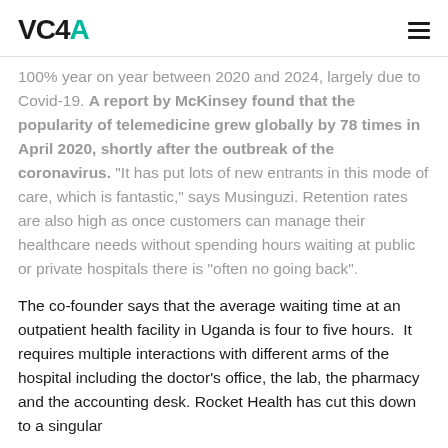VC4A
100% year on year between 2020 and 2024, largely due to Covid-19. A report by McKinsey found that the popularity of telemedicine grew globally by 78 times in April 2020, shortly after the outbreak of the coronavirus. “It has put lots of new entrants in this mode of care, which is fantastic,” says Musinguzi. Retention rates are also high as once customers can manage their healthcare needs without spending hours waiting at public or private hospitals there is “often no going back”.
The co-founder says that the average waiting time at an outpatient health facility in Uganda is four to five hours.  It requires multiple interactions with different arms of the hospital including the doctor’s office, the lab, the pharmacy and the accounting desk. Rocket Health has cut this down to a singular